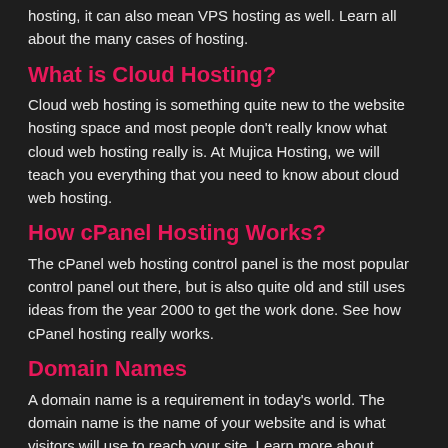hosting, it can also mean VPS hosting as well. Learn all about the many cases of hosting.
What is Cloud Hosting?
Cloud web hosting is something quite new to the website hosting space and most people don't really know what cloud web hosting really is. At Mujica Hosting, we will teach you everything that you need to know about cloud web hosting.
How cPanel Hosting Works?
The cPanel web hosting control panel is the most popular control panel out there, but is also quite old and still uses ideas from the year 2000 to get the work done. See how cPanel hosting really works.
Domain Names
A domain name is a requirement in today's world. The domain name is the name of your website and is what visitors will use to reach your site. Learn more about domain names and their importance in our detailed article.